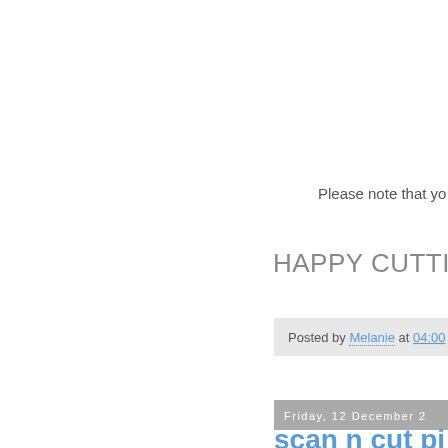Please note that yo
HAPPY CUTTING.XXX
Posted by Melanie at 04:00
Friday, 12 December 2
scan n cut pi